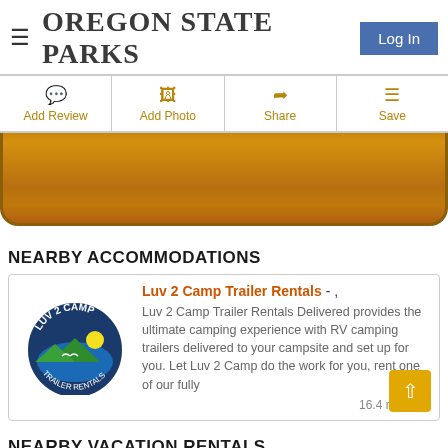OREGON STATE PARKS
Log In
Add Review | Add Photo | Share | Save
[Figure (other): Wood-textured decorative banner strip]
NEARBY ACCOMMODATIONS
Luv 2 Camp Trailer Rentals - , Luv 2 Camp Trailer Rentals Delivered provides the ultimate camping experience with RV camping trailers delivered to your campsite and set up for you. Let Luv 2 Camp do the work for you, rent one of our fully
16.4 miles fro
NEARBY VACATION RENTALS